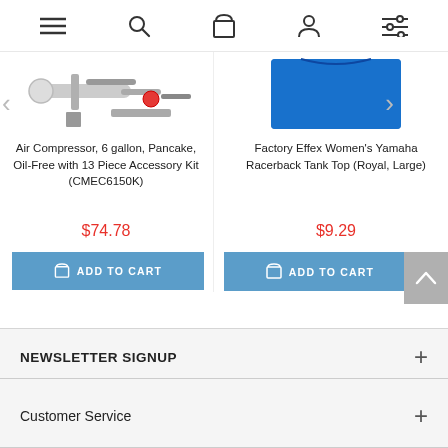[Figure (screenshot): E-commerce website navigation bar with hamburger menu, search, cart, account, and filter icons]
[Figure (photo): Air compressor product image with accessories]
Air Compressor, 6 gallon, Pancake, Oil-Free with 13 Piece Accessory Kit (CMEC6150K)
$74.78
[Figure (photo): Factory Effex Women's Yamaha Racerback Tank Top in Royal Blue, Large]
Factory Effex Women's Yamaha Racerback Tank Top (Royal, Large)
$9.29
NEWSLETTER SIGNUP
Customer Service